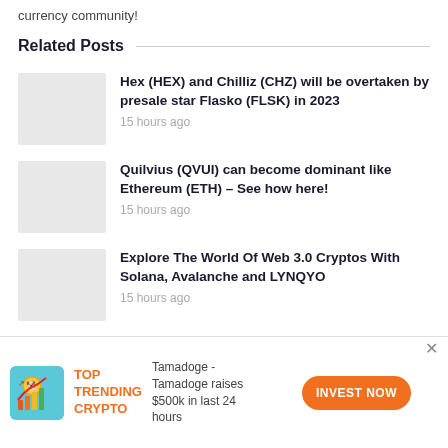currency community!
Related Posts
Hex (HEX) and Chilliz (CHZ) will be overtaken by presale star Flasko (FLSK) in 2023
15 hours ago
Quilvius (QVUI) can become dominant like Ethereum (ETH) – See how here!
15 hours ago
Explore The World Of Web 3.0 Cryptos With Solana, Avalanche and LYNQYO
15 hours ago
[Figure (infographic): Advertisement banner: TOP TRENDING CRYPTO with Tamadoge icon, text 'Tamadoge - Tamadoge raises $500k in last 24 hours', and INVEST NOW button]